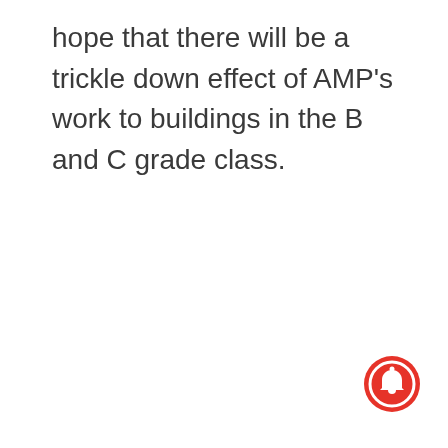hope that there will be a trickle down effect of AMP's work to buildings in the B and C grade class.
[Figure (other): Red circular notification bell button icon in the bottom-right corner]
...